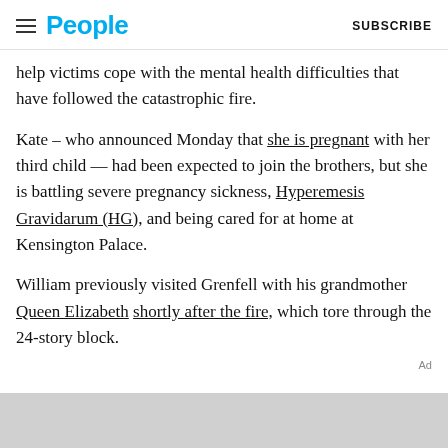People — SUBSCRIBE
help victims cope with the mental health difficulties that have followed the catastrophic fire.
Kate – who announced Monday that she is pregnant with her third child — had been expected to join the brothers, but she is battling severe pregnancy sickness, Hyperemesis Gravidarum (HG), and being cared for at home at Kensington Palace.
William previously visited Grenfell with his grandmother Queen Elizabeth shortly after the fire, which tore through the 24-story block.
Ad